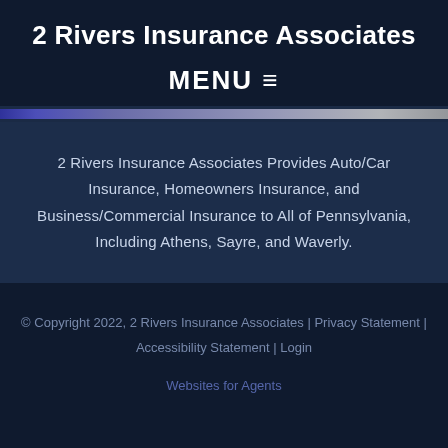2 Rivers Insurance Associates
MENU ≡
2 Rivers Insurance Associates Provides Auto/Car Insurance, Homeowners Insurance, and Business/Commercial Insurance to All of Pennsylvania, Including Athens, Sayre, and Waverly.
© Copyright 2022, 2 Rivers Insurance Associates | Privacy Statement | Accessibility Statement | Login
Websites for Agents